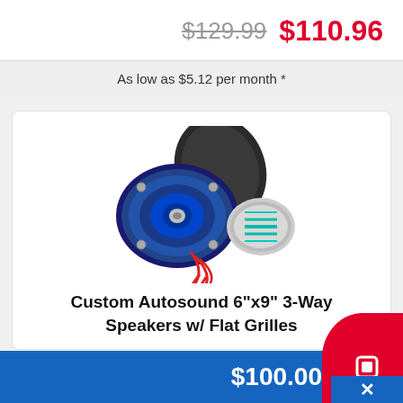$129.99  $110.96
As low as $5.12 per month *
[Figure (photo): Product photo of car speakers: a blue cone 6x9 inch speaker, a black oval speaker enclosure, a chrome speaker with teal cone, and red wiring.]
Custom Autosound 6"x9" 3-Way Speakers w/ Flat Grilles
$100.00